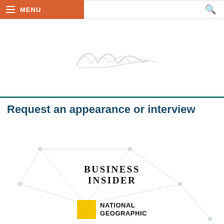MENU [navigation bar with hamburger icon and search icon]
[Figure (illustration): Handwritten signature in light gray/silver ink centered on white background]
Request an appearance or interview
[Figure (logo): Business Insider logo text in serif font, uppercase, centered]
[Figure (logo): National Geographic logo with yellow border square icon and text NATIONAL GEOGRAPHIC]